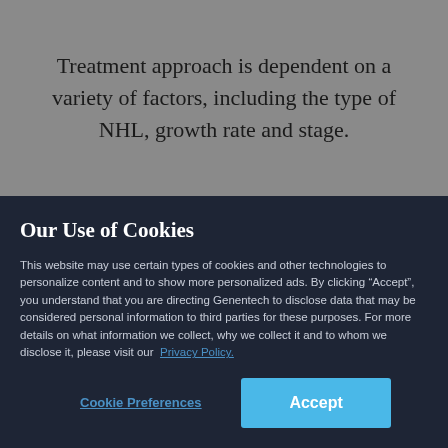Treatment approach is dependent on a variety of factors, including the type of NHL, growth rate and stage.
Our Use of Cookies
This website may use certain types of cookies and other technologies to personalize content and to show more personalized ads. By clicking “Accept”, you understand that you are directing Genentech to disclose data that may be considered personal information to third parties for these purposes. For more details on what information we collect, why we collect it and to whom we disclose it, please visit our Privacy Policy.
Cookie Preferences
Accept